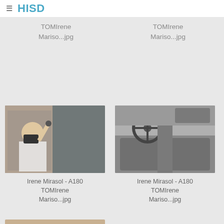HISD
TOMIrene
Mariso...jpg
TOMIrene
Mariso...jpg
[Figure (photo): Woman with mask sitting in driver seat of car, holding up car keys]
[Figure (photo): Interior of car showing steering wheel and dashboard]
Irene Mirasol - A180
TOMIrene
Mariso...jpg
Irene Mirasol - A180
TOMIrene
Mariso...jpg
[Figure (photo): Partial photo at bottom of page, partially cropped]